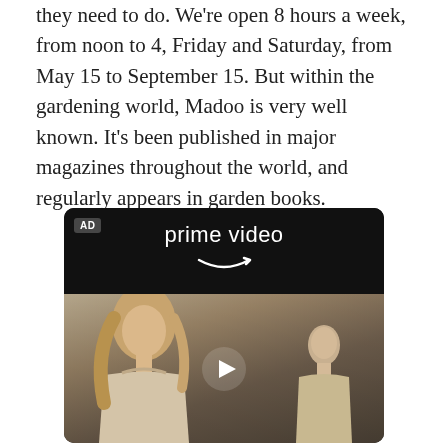they need to do. We're open 8 hours a week, from noon to 4, Friday and Saturday, from May 15 to September 15. But within the gardening world, Madoo is very well known. It's been published in major magazines throughout the world, and regularly appears in garden books.
[Figure (other): Amazon Prime Video advertisement banner showing the Prime Video logo with Amazon arrow smile, and below it a movie scene with a blonde woman in the foreground looking upward and a man in the background, with a play button overlay. An 'AD' badge appears in the top left corner.]